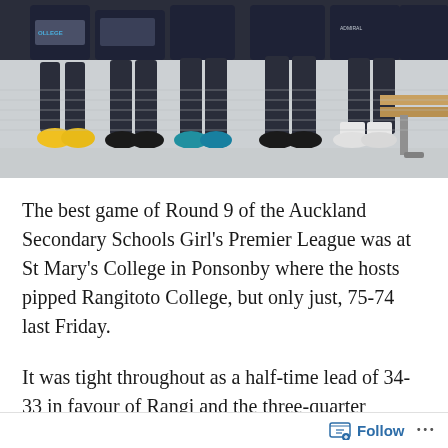[Figure (photo): Photo of students in dark blue sports uniforms (basketball/netball gear) sitting on a bench, showing their legs and sneakers. One student has yellow shoes. Background is a light-coloured indoor sports facility wall.]
The best game of Round 9 of the Auckland Secondary Schools Girl's Premier League was at St Mary's College in Ponsonby where the hosts pipped Rangitoto College, but only just, 75-74 last Friday.
It was tight throughout as a half-time lead of 34-33 in favour of Rangi and the three-quarter advantage of 53-50 favouring St Mary's suggests.
Into the final two minutes the lead was still back and forth